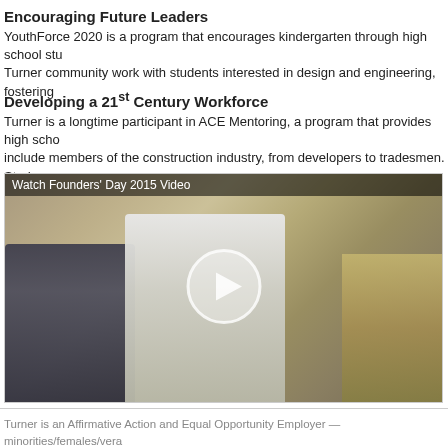Encouraging Future Leaders
YouthForce 2020 is a program that encourages kindergarten through high school stu Turner community work with students interested in design and engineering, fostering
Developing a 21st Century Workforce
Turner is a longtime participant in ACE Mentoring, a program that provides high scho include members of the construction industry, from developers to tradesmen. Studen assignment projects and they visit construction sites and offices to see firsthand wha
[Figure (photo): Video thumbnail showing students in white uniforms with a play button overlay, captioned 'Watch Founders' Day 2015 Video']
Turner is an Affirmative Action and Equal Opportunity Employer — minorities/females/vera with disabilities/sexual orientation/gender identity.
VEVRAA Federal Contractor